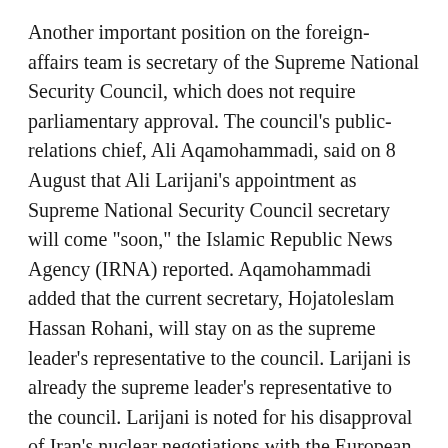Another important position on the foreign-affairs team is secretary of the Supreme National Security Council, which does not require parliamentary approval. The council's public-relations chief, Ali Aqamohammadi, said on 8 August that Ali Larijani's appointment as Supreme National Security Council secretary will come "soon," the Islamic Republic News Agency (IRNA) reported. Aqamohammadi added that the current secretary, Hojatoleslam Hassan Rohani, will stay on as the supreme leader's representative to the council. Larijani is already the supreme leader's representative to the council. Larijani is noted for his disapproval of Iran's nuclear negotiations with the European Union, saying at one time that Iran has traded "pearls for bonbons."
From the perspective of international observers,